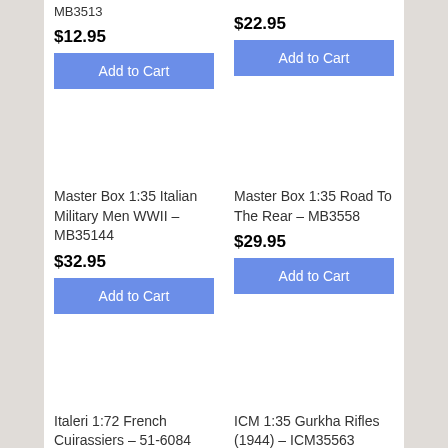MB3513
$12.95
Add to Cart
$22.95
Add to Cart
Master Box 1:35 Italian Military Men WWII – MB35144
$32.95
Add to Cart
Master Box 1:35 Road To The Rear – MB3558
$29.95
Add to Cart
Italeri 1:72 French Cuirassiers – 51-6084
ICM 1:35 Gurkha Rifles (1944) – ICM35563